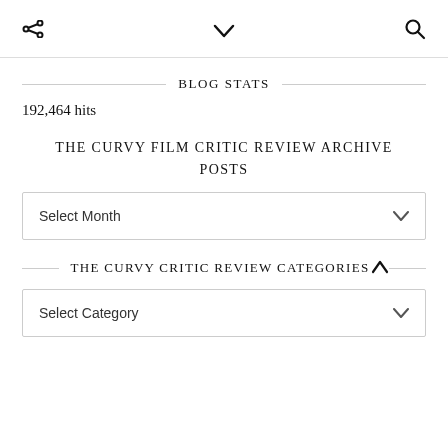< ∨ 🔍
BLOG STATS
192,464 hits
THE CURVY FILM CRITIC REVIEW ARCHIVE POSTS
Select Month
THE CURVY CRITIC REVIEW CATEGORIES
Select Category